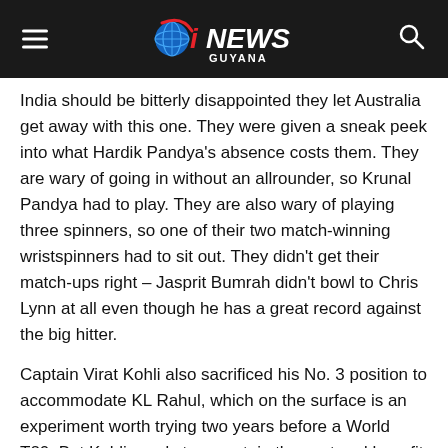iNEWS GUYANA
India should be bitterly disappointed they let Australia get away with this one. They were given a sneak peek into what Hardik Pandya's absence costs them. They are wary of going in without an allrounder, so Krunal Pandya had to play. They are also wary of playing three spinners, so one of their two match-winning wristspinners had to sit out. They didn't get their match-ups right – Jasprit Bumrah didn't bowl to Chris Lynn at all even though he has a great record against the big hitter.
Captain Virat Kohli also sacrificed his No. 3 position to accommodate KL Rahul, which on the surface is an experiment worth trying two years before a World T20. But Kohli needs to ascertain the cost and benefit of it swiftly.
Given the slip-ups in the first game, all eyes will be on Kohli's captaincy on Friday. (Excerpted from ESPNCricinfo)